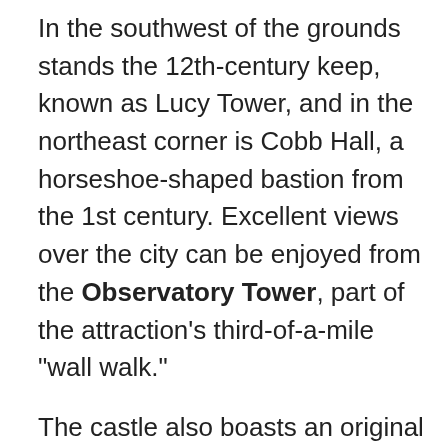In the southwest of the grounds stands the 12th-century keep, known as Lucy Tower, and in the northeast corner is Cobb Hall, a horseshoe-shaped bastion from the 1st century. Excellent views over the city can be enjoyed from the Observatory Tower, part of the attraction's third-of-a-mile "wall walk."
The castle also boasts an original copy of the Magna Carta on permanent display. Dating back to 1215, it's one of only four copies in existence and is part of an exhibit that includes an insight into the document's history, something that's brought to life through first-rate video presentations.
Also worth visiting is the nearby fully restored (and once notorious) Victorian Prison, where prisoners as